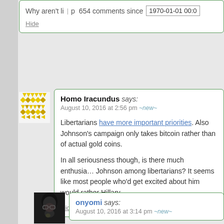Why aren't li⁠p 654 comments since 1970-01-01 00:0
Hide
Homo Iracundus says:
August 10, 2016 at 2:56 pm ~new~
Libertarians have more important priorities. Also Johnson's campaign only takes bitcoin rather than of actual gold coins. In all seriousness though, is there much enthusiasm Johnson among libertarians? It seems like most people who'd get excited about him would rather Hillary.
Hide 1
[Figure (illustration): Yellow geometric avatar with diamond/arrow pattern tiles on white background]
onyomi says:
August 10, 2016 at 3:14 pm ~new~
[Figure (photo): Dark photo of person with glasses, hand near face, black hair]